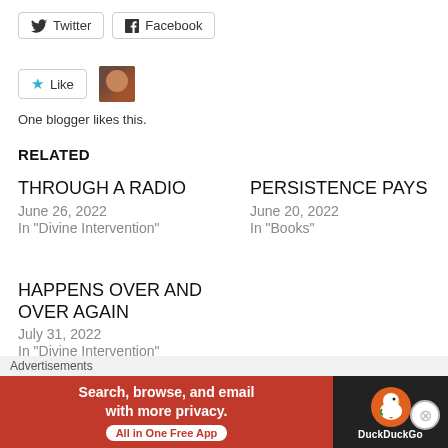[Figure (other): Twitter and Facebook social sharing buttons]
[Figure (other): Like button with blogger avatar and text 'One blogger likes this.']
One blogger likes this.
RELATED
THROUGH A RADIO
June 26, 2022
In "Divine Intervention"
PERSISTENCE PAYS
June 20, 2022
In "Books"
HAPPENS OVER AND OVER AGAIN
July 31, 2022
In "Divine Intervention"
AUGUST 8, 2021 BY REVWISE
[Figure (other): DuckDuckGo advertisement banner: 'Search, browse, and email with more privacy. All in One Free App']